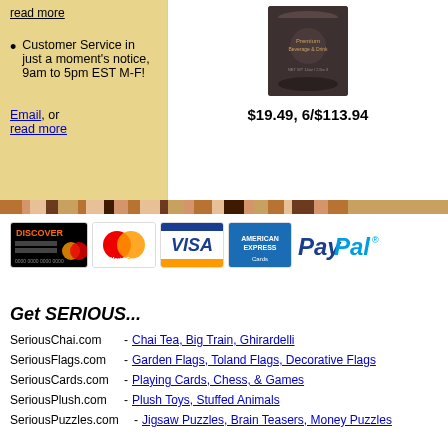read more
Customer Service in just a moment's notice, 9am to 5pm EST M-F!
Email, or read more
[Figure (photo): Dark cylindrical product container/tin]
$19.49, 6/$113.94
[Figure (infographic): Payment method logos: Discover, MasterCard, Visa, American Express, PayPal]
Get SERIOUS...
SeriousChai.com - Chai Tea, Big Train, Ghirardelli
SeriousFlags.com - Garden Flags, Toland Flags, Decorative Flags
SeriousCards.com - Playing Cards, Chess, & Games
SeriousPlush.com - Plush Toys, Stuffed Animals
SeriousPuzzles.com - Jigsaw Puzzles, Brain Teasers, Money Puzzles
Headquarters: